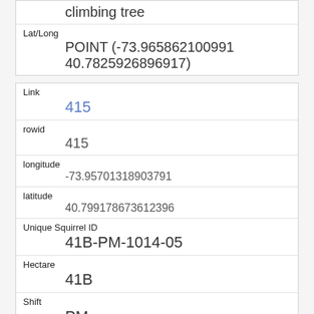| climbing tree |
| Lat/Long | POINT (-73.965862100991 40.7825926896917) |
| Link | 415 |
| rowid | 415 |
| longitude | -73.95701318903791 |
| latitude | 40.799178673612396 |
| Unique Squirrel ID | 41B-PM-1014-05 |
| Hectare | 41B |
| Shift | PM |
| Date | 10142018 |